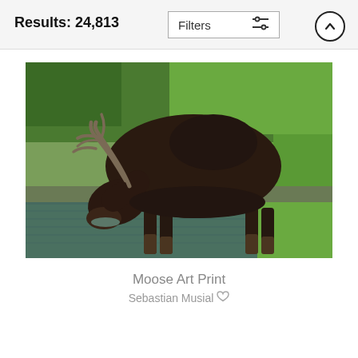Results: 24,813
[Figure (photo): A moose drinking water from a shallow stream or pond, with green grass and shrubs in the background. The moose is a large dark brown bull moose with antlers, standing in the water with its head lowered to drink.]
Moose Art Print
Sebastian Musial